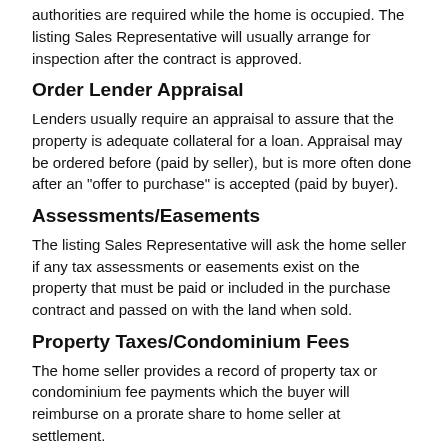authorities are required while the home is occupied. The listing Sales Representative will usually arrange for inspection after the contract is approved.
Order Lender Appraisal
Lenders usually require an appraisal to assure that the property is adequate collateral for a loan. Appraisal may be ordered before (paid by seller), but is more often done after an "offer to purchase" is accepted (paid by buyer).
Assessments/Easements
The listing Sales Representative will ask the home seller if any tax assessments or easements exist on the property that must be paid or included in the purchase contract and passed on with the land when sold.
Property Taxes/Condominium Fees
The home seller provides a record of property tax or condominium fee payments which the buyer will reimburse on a prorate share to home seller at settlement.
Inspections
Many lenders of new mortgages may require an inspection certificate that shows the house is free of major defects.